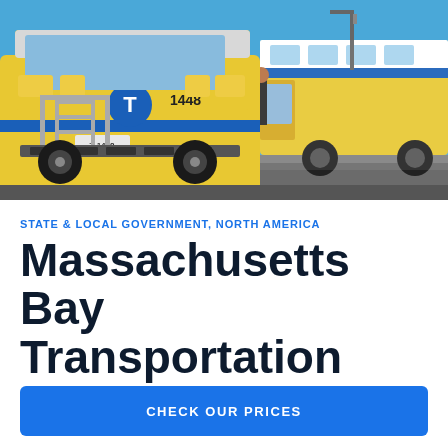[Figure (photo): Front view of a yellow and white MBTA bus numbered 1448 with a bicycle rack in the foreground; a second bus is visible to the right against a blue sky background.]
STATE & LOCAL GOVERNMENT, NORTH AMERICA
Massachusetts Bay Transportation
CHECK OUR PRICES